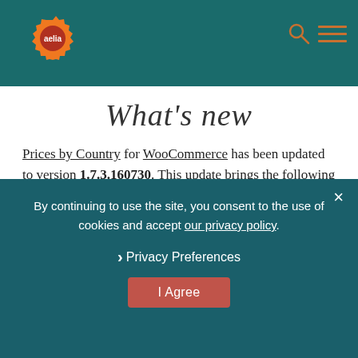Aelia - Header with logo, search and menu icons
What's new
Prices by Country for WooCommerce has been updated to version 1.7.3.160730. This update brings the following improvements and fixes:
Improved compatibility with Bundles plugin. Fixed glitch in the Edit Product
By continuing to use the site, you consent to the use of cookies and accept our privacy policy.
❯ Privacy Preferences
I Agree